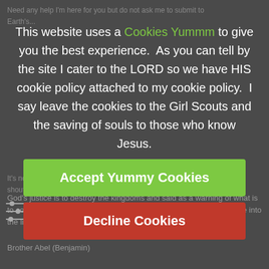Need any help I'm here for you but do not ask me to submit to Earth's...
It's not about having a king or a president the message out shout what they need to get into the Kingdom 777 is the motto...
This website uses a Cookies Yummm to give you the best experience.  As you can tell by the site I cater to the LORD so we have HIS cookie policy attached to my cookie policy.  I say leave the cookies to the Girl Scouts and the saving of souls to those who know Jesus.
Accept Yummy Cookies
Decline Cookies
God's justice is to destroy the kingdoms and said as a warning of what is to come and you should be seeing it by now.  If not you need to come into the light.
Brother Abel (Benjamin)